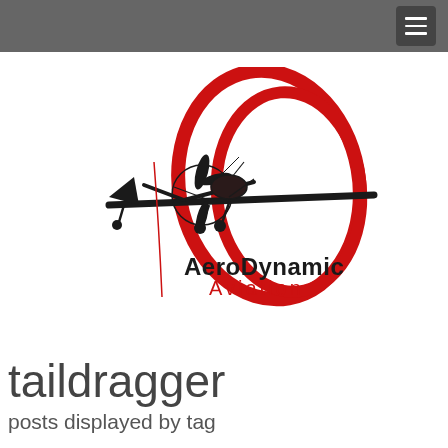[Figure (logo): AeroDynamic Aviation logo: a stylized taildragger airplane in black with large red loop/spiral graphic behind it, with text 'AeroDynamic Aviation' below in black and red]
taildragger
posts displayed by tag